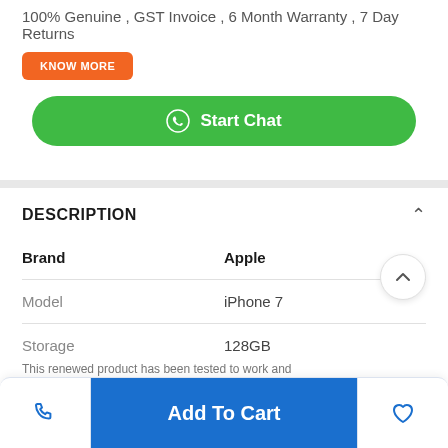100% Genuine , GST Invoice , 6 Month Warranty , 7 Day Returns
KNOW MORE
Start Chat
DESCRIPTION
| Attribute | Value |
| --- | --- |
| Brand | Apple |
| Model | iPhone 7 |
| Storage | 128GB |
| Physical Condition | Good |
Add To Cart
This renewed product has been tested to work and